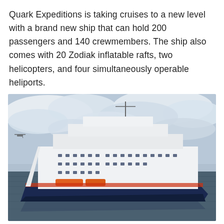Quark Expeditions is taking cruises to a new level with a brand new ship that can hold 200 passengers and 140 crewmembers. The ship also comes with 20 Zodiak inflatable rafts, two helicopters, and four simultaneously operable heliports.
[Figure (photo): A large expedition cruise ship with a white upper structure and dark navy blue hull, sailing on calm water with a cloudy sky in the background. Orange lifeboats are visible on the side of the ship.]